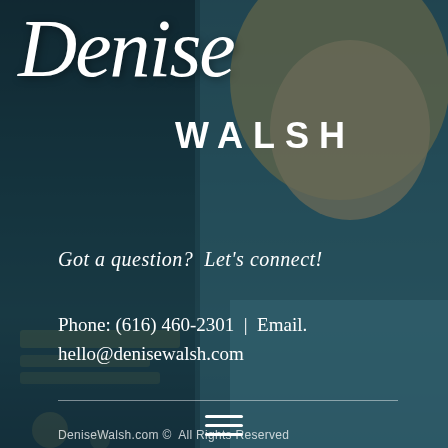[Figure (photo): Background photo of a smiling blonde woman in a blue tank top, with a teal/dark overlay]
Denise WALSH
Got a question?  Let's connect!
Phone: (616) 460-2301  |  Email. hello@denisewalsh.com
DeniseWalsh.com © All Rights Reserved